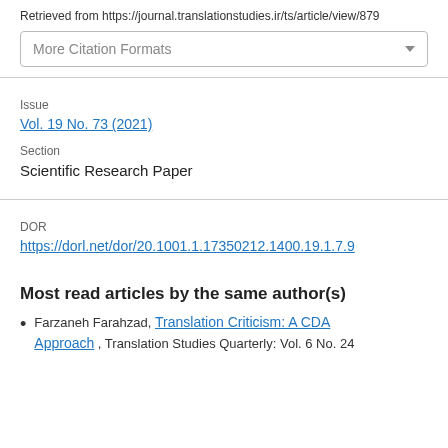Retrieved from https://journal.translationstudies.ir/ts/article/view/879
More Citation Formats
Issue
Vol. 19 No. 73 (2021)
Section
Scientific Research Paper
DOR
https://dorl.net/dor/20.1001.1.17350212.1400.19.1.7.9
Most read articles by the same author(s)
Farzaneh Farahzad, Translation Criticism: A CDA Approach , Translation Studies Quarterly: Vol. 6 No. 24